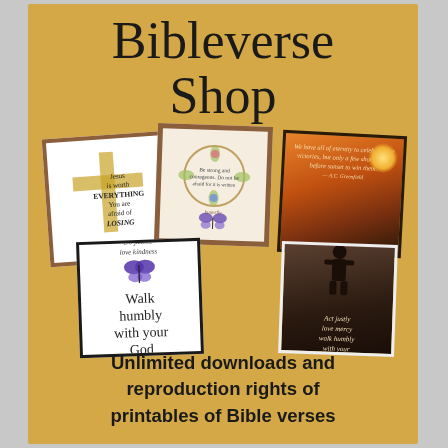Bibleverse Shop
[Figure (illustration): Collage of five Bible verse printable cards arranged in a fanned/stacked layout on a golden background. Cards show various Bible verses with decorative elements including a cross, butterfly, sunset, and florals.]
Unlimited downloads and reproduction rights of printables of Bible verses